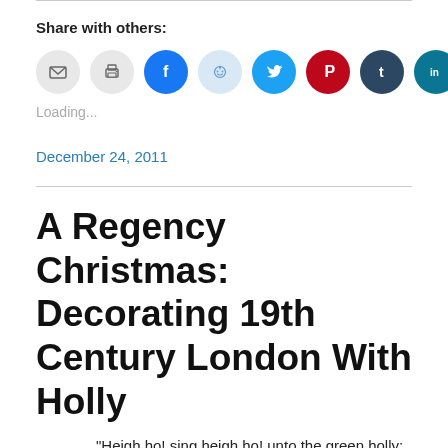Share with others:
[Figure (infographic): Row of social sharing icon buttons: email (gray), print (gray), Facebook (blue), Reddit (light blue), Twitter (cyan), Pinterest (red), Tumblr (dark navy), LinkedIn (teal)]
Loading...
December 24, 2011
A Regency Christmas: Decorating 19th Century London With Holly
“Heigh ho! sing heigh ho! unto the green holly: